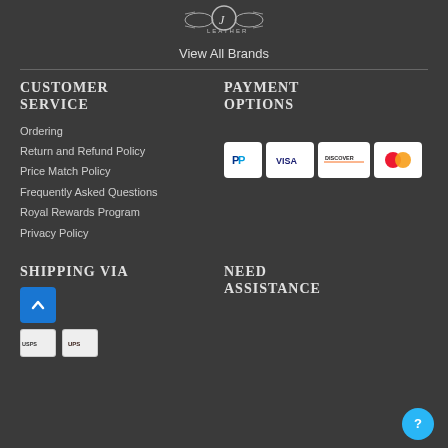[Figure (logo): Juice Leather brand logo in white on dark background]
View All Brands
CUSTOMER SERVICE
PAYMENT OPTIONS
Ordering
Return and Refund Policy
Price Match Policy
Frequently Asked Questions
Royal Rewards Program
Privacy Policy
[Figure (logo): Payment icons: PayPal, Visa, Discover, Mastercard]
SHIPPING VIA
NEED ASSISTANCE
[Figure (logo): Shipping carrier logos including USPS and UPS]